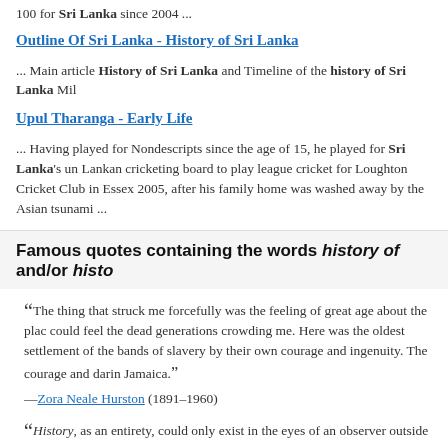100 for Sri Lanka since 2004 ...
Outline Of Sri Lanka - History of Sri Lanka
... Main article History of Sri Lanka and Timeline of the history of Sri Lanka Mil
Upul Tharanga - Early Life
... Having played for Nondescripts since the age of 15, he played for Sri Lanka's un Lankan cricketing board to play league cricket for Loughton Cricket Club in Essex 2005, after his family home was washed away by the Asian tsunami ...
Famous quotes containing the words history of and/or histo
“ The thing that struck me forcefully was the feeling of great age about the plac could feel the dead generations crowding me. Here was the oldest settlement of the bands of slavery by their own courage and ingenuity. The courage and darin Jamaica.”
—Zora Neale Hurston (1891–1960)
“ History, as an entirety, could only exist in the eyes of an observer outside it a God.”